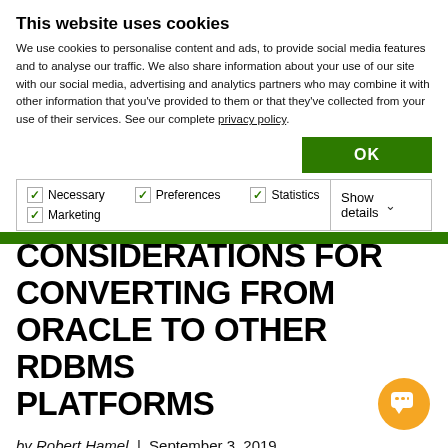This website uses cookies
We use cookies to personalise content and ads, to provide social media features and to analyse our traffic. We also share information about your use of our site with our social media, advertising and analytics partners who may combine it with other information that you've provided to them or that they've collected from your use of their services. See our complete privacy policy.
OK
Necessary  Preferences  Statistics  Marketing  Show details
CONSIDERATIONS FOR CONVERTING FROM ORACLE TO OTHER RDBMS PLATFORMS
by Robert Hamel  |  September 3, 2019
Posted in: Technical Track